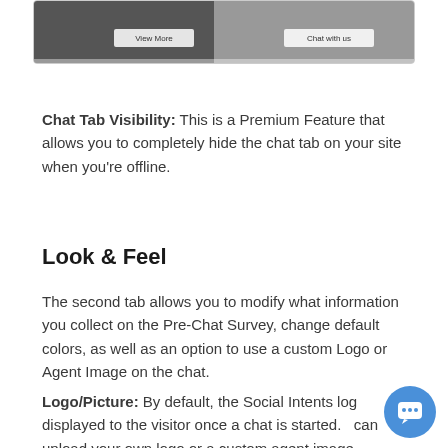[Figure (screenshot): Screenshot of a chat interface showing a banner image with 'View More' and 'Chat with us' buttons]
Chat Tab Visibility:  This is a Premium Feature that allows you to completely hide the chat tab on your site when you're offline.
Look & Feel
The second tab allows you to modify what information you collect on the Pre-Chat Survey,  change default colors,  as well as an option to use a custom Logo or Agent Image on the chat.
Logo/Picture:  By default, the Social Intents logo is displayed to the visitor once a chat is started.  You can upload your own logo or a custom agent image.  This feature is only ideal for Premium...